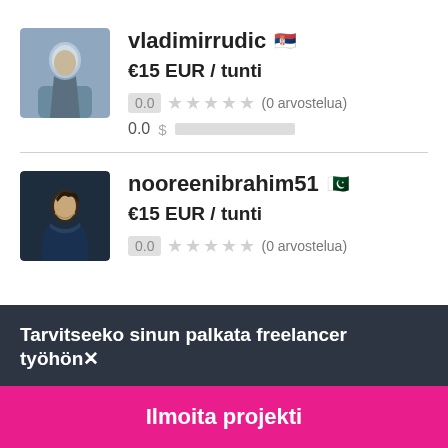vladimirrudic 🇷🇸
€15 EUR / tunti
0.0 ★★★★★ (0 arvostelua)
0.0
nooreenibrahim51 🇵🇰
€15 EUR / tunti
0.0 ★★★★★ (0 arvostelua)
Tarvitseeko sinun palkata freelancer työhön✕
Ilmoita projekti